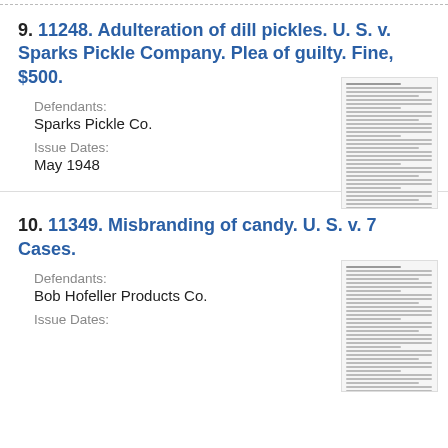9. 11248. Adulteration of dill pickles. U. S. v. Sparks Pickle Company. Plea of guilty. Fine, $500.
Defendants: Sparks Pickle Co.
Issue Dates: May 1948
[Figure (other): Thumbnail image of a document page with dense text lines]
10. 11349. Misbranding of candy. U. S. v. 7 Cases.
Defendants: Bob Hofeller Products Co.
Issue Dates:
[Figure (other): Thumbnail image of a document page with dense text lines]